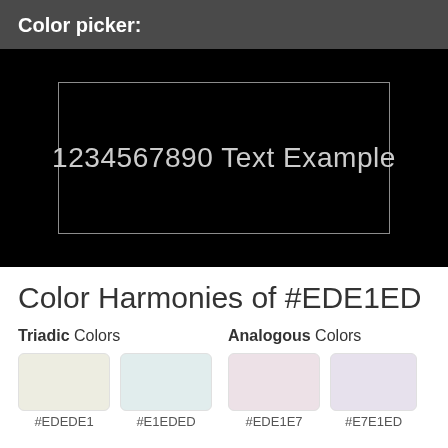Color picker:
[Figure (screenshot): Black preview area with white border containing the text '1234567890 Text Example' in light gray]
Color Harmonies of #EDE1ED
Triadic Colors
Analogous Colors
[Figure (illustration): Four color swatches: #EDEDE1 (light yellow-white), #E1EDED (light cyan-white), #EDE1E7 (light pink-white), #E7E1ED (light lavender-white)]